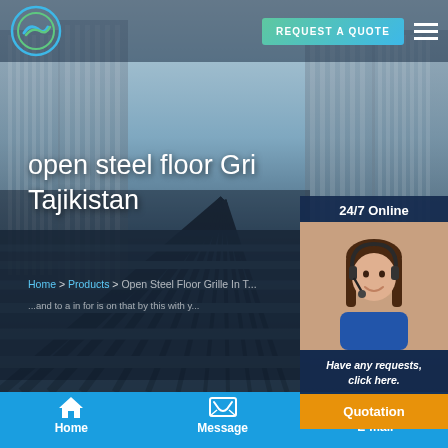[Figure (screenshot): Website screenshot showing open steel floor grating product page for Tajikistan. Hero image shows steel grating in perspective with city buildings. Navigation bar with logo, REQUEST A QUOTE button, and hamburger menu. Right panel with 24/7 Online support agent photo. Bottom navigation with Home, Message, E-mail.]
REQUEST A QUOTE
open steel floor Gri Tajikistan
Home > Products > Open Steel Floor Grille In T... and to a in for is on that by this with y...
24/7 Online
Have any requests, click here.
Quotation
Home   Message   E-mail